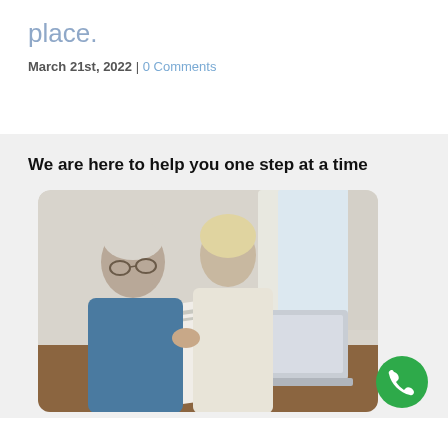place.
March 21st, 2022 | 0 Comments
We are here to help you one step at a time
[Figure (photo): Elderly couple sitting at a table reviewing paper documents together with a laptop open in front of them.]